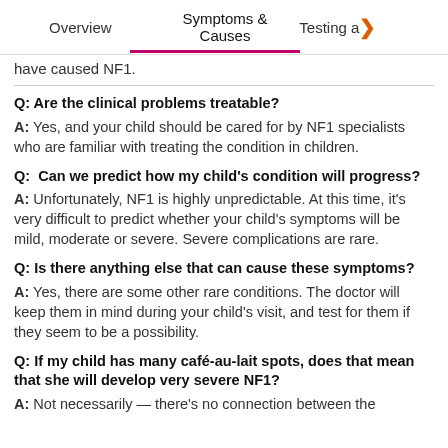Overview | Symptoms & Causes | Testing a…
have caused NF1.
Q: Are the clinical problems treatable?
A: Yes, and your child should be cared for by NF1 specialists who are familiar with treating the condition in children.
Q: Can we predict how my child's condition will progress?
A: Unfortunately, NF1 is highly unpredictable. At this time, it's very difficult to predict whether your child's symptoms will be mild, moderate or severe. Severe complications are rare.
Q: Is there anything else that can cause these symptoms?
A: Yes, there are some other rare conditions. The doctor will keep them in mind during your child's visit, and test for them if they seem to be a possibility.
Q: If my child has many café-au-lait spots, does that mean that she will develop very severe NF1?
A: Not necessarily — there's no connection between the